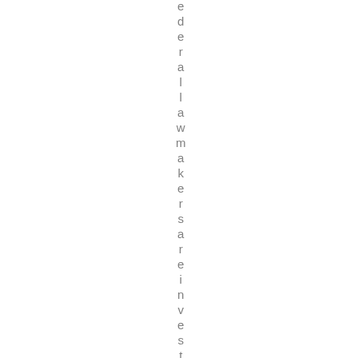ederall lawmakers are invested